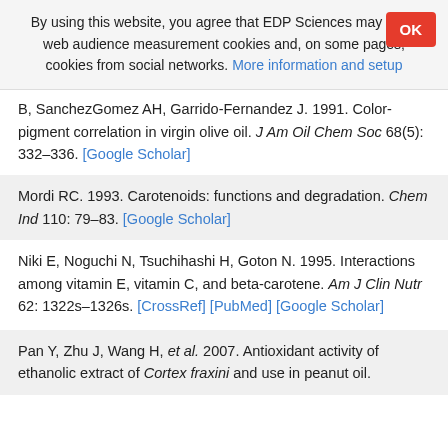By using this website, you agree that EDP Sciences may store web audience measurement cookies and, on some pages, cookies from social networks. More information and setup
B, SanchezGomez AH, Garrido-Fernandez J. 1991. Color-pigment correlation in virgin olive oil. J Am Oil Chem Soc 68(5): 332–336. [Google Scholar]
Mordi RC. 1993. Carotenoids: functions and degradation. Chem Ind 110: 79–83. [Google Scholar]
Niki E, Noguchi N, Tsuchihashi H, Goton N. 1995. Interactions among vitamin E, vitamin C, and beta-carotene. Am J Clin Nutr 62: 1322s–1326s. [CrossRef] [PubMed] [Google Scholar]
Pan Y, Zhu J, Wang H, et al. 2007. Antioxidant activity of ethanolic extract of Cortex fraxini and use in peanut oil.